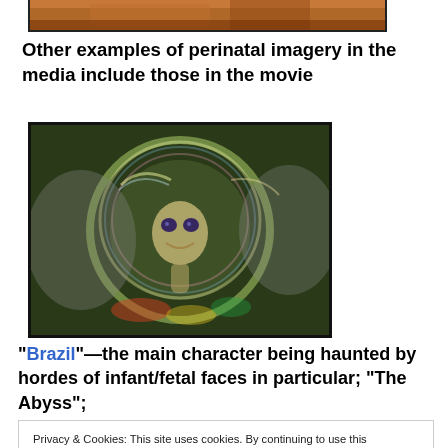[Figure (photo): Partial view of a photograph at top of page, cropped, showing warm brown/orange tones]
Other examples of perinatal imagery in the media include those in the movie
[Figure (photo): Movie still from Brazil showing a surreal fetal/alien creature face surrounded by iridescent bubble-like forms]
“Brazil”—the main character being haunted by hordes of infant/fetal faces in particular; “The Abyss”;
Privacy & Cookies: This site uses cookies. By continuing to use this website, you agree to their use.
To find out more, including how to control cookies, see here: Cookie Policy